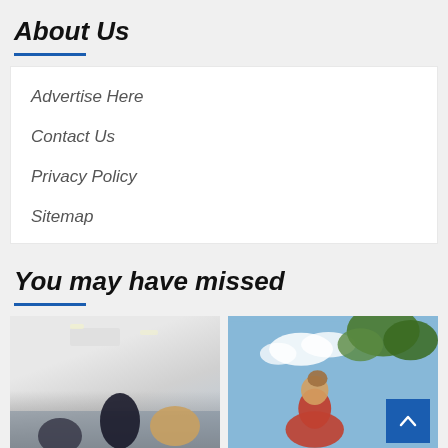About Us
Advertise Here
Contact Us
Privacy Policy
Sitemap
You may have missed
[Figure (photo): Indoor store scene with people at a counter]
[Figure (photo): Woman in red top outdoors with trees and blue sky]